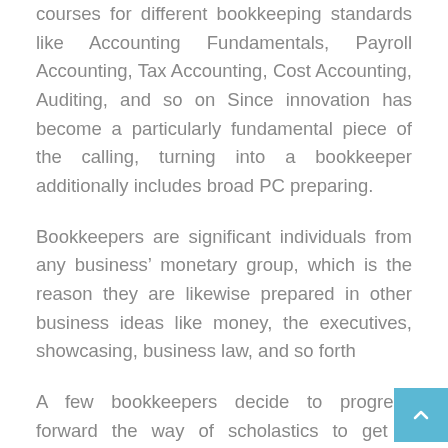courses for different bookkeeping standards like Accounting Fundamentals, Payroll Accounting, Tax Accounting, Cost Accounting, Auditing, and so on Since innovation has become a particularly fundamental piece of the calling, turning into a bookkeeper additionally includes broad PC preparing.
Bookkeepers are significant individuals from any business’ monetary group, which is the reason they are likewise prepared in other business ideas like money, the executives, showcasing, business law, and so forth
A few bookkeepers decide to progress forward the way of scholastics to get a Master’s in Accounting or a MBA for professional success.
Proficient Certificatio